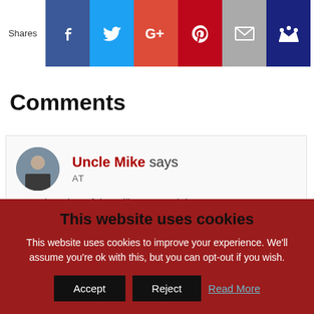[Figure (other): Social share bar with Shares label and buttons: Facebook (blue), Twitter (light blue), Google+ (red-orange), Pinterest (dark red), Email (gray), Crown/bookmark (dark blue)]
Comments
Uncle Mike says
AT
Love that shot of the Milkman!! I might
This website uses cookies
This website uses cookies to improve your experience. We'll assume you're ok with this, but you can opt-out if you wish.
Accept   Reject   Read More